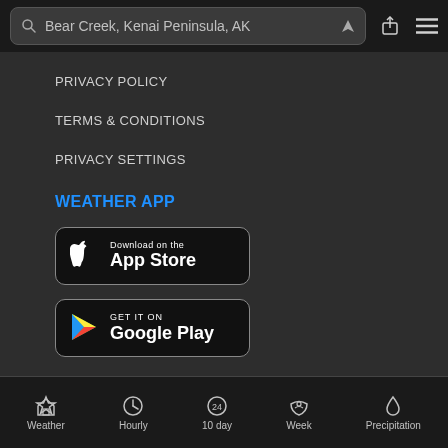Bear Creek, Kenai Peninsula, AK
PRIVACY POLICY
TERMS & CONDITIONS
PRIVACY SETTINGS
WEATHER APP
[Figure (screenshot): Download on the App Store button]
[Figure (screenshot): Get it on Google Play button]
© Foreca Ltd 2022
Weather | Hourly | 10 day | Week | Precipitation